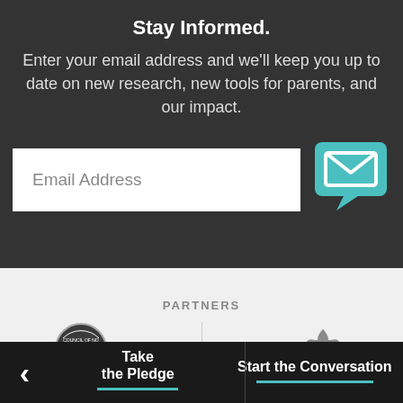Stay Informed.
Enter your email address and we'll keep you up to date on new research, new tools for parents, and our impact.
Email Address
PARTNERS
Take the Pledge
Start the Conversation